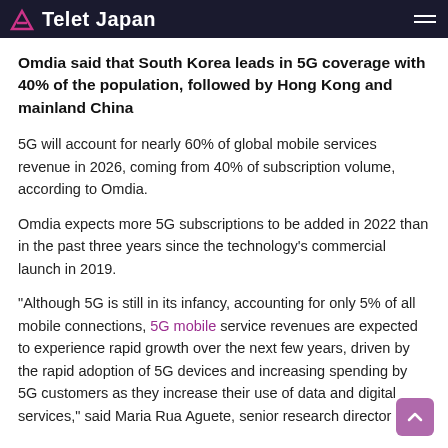Telet Japan
Omdia said that South Korea leads in 5G coverage with 40% of the population, followed by Hong Kong and mainland China
5G will account for nearly 60% of global mobile services revenue in 2026, coming from 40% of subscription volume, according to Omdia.
Omdia expects more 5G subscriptions to be added in 2022 than in the past three years since the technology's commercial launch in 2019.
“Although 5G is still in its infancy, accounting for only 5% of all mobile connections, 5G mobile service revenues are expected to experience rapid growth over the next few years, driven by the rapid adoption of 5G devices and increasing spending by 5G customers as they increase their use of data and digital services,” said Maria Rua Aguete, senior research director at